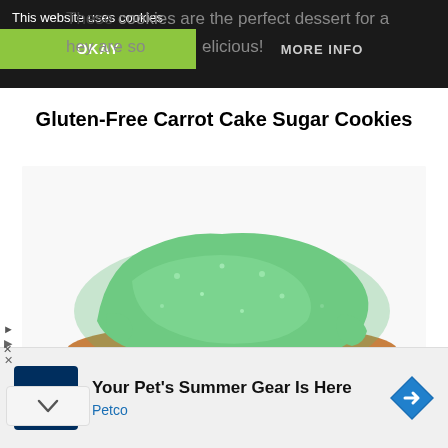This website uses cookies | OKAY | MORE INFO
These cookies are the perfect dessert for a ... They are so... delicious!
Gluten-Free Carrot Cake Sugar Cookies
[Figure (photo): Close-up photo of a gluten-free carrot cake sugar cookie with green frosting on top, showing the cookie base with an orange carrot decoration, on a white background.]
Your Pet's Summer Gear Is Here
Petco